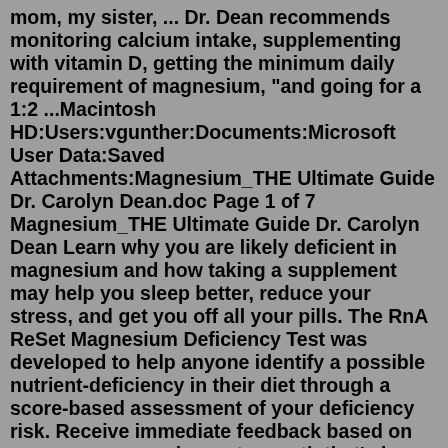mom, my sister, ... Dr. Dean recommends monitoring calcium intake, supplementing with vitamin D, getting the minimum daily requirement of magnesium, "and going for a 1:2 ...Macintosh HD:Users:vgunther:Documents:Microsoft User Data:Saved Attachments:Magnesium_THE Ultimate Guide Dr. Carolyn Dean.doc Page 1 of 7 Magnesium_THE Ultimate Guide Dr. Carolyn Dean Learn why you are likely deficient in magnesium and how taking a supplement may help you sleep better, reduce your stress, and get you off all your pills. The RnA ReSet Magnesium Deficiency Test was developed to help anyone identify a possible nutrient-deficiency in their diet through a score-based assessment of your deficiency risk. Receive immediate feedback based on your answers, and a custom path that's been proven successful for others at a similar stage of their health journey.Apr 02, 2020 · Dr. Carolyn Dean argues that many cases of misdiagnosis are in fact cases of magnesium deficiency or a deficiency in other essential nutrients. In her book, The Magnesium